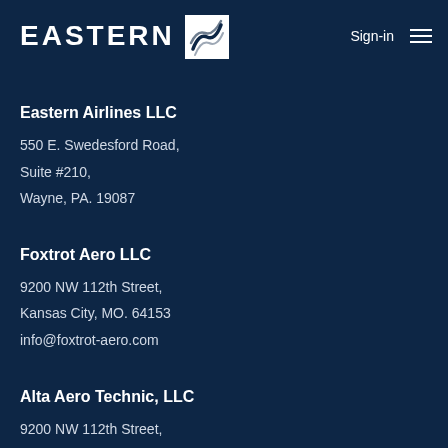EASTERN  Sign-in
Eastern Airlines LLC
550 E. Swedesford Road,
Suite #210,
Wayne, PA. 19087
Foxtrot Aero LLC
9200 NW 112th Street,
Kansas City, MO. 64153
info@foxtrot-aero.com
Alta Aero Technic, LLC
9200 NW 112th Street,